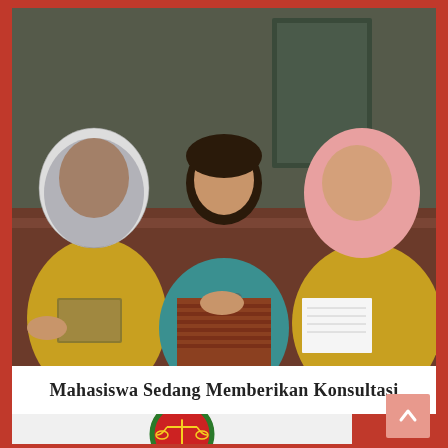[Figure (photo): Three women sitting together in a consultation session. The woman on the left wearing a hijab and yellow jacket is holding a book and appears to be speaking. The woman in the middle is wearing a teal/blue top with polka dot design. The woman on the right is wearing a pink hijab and yellow jacket and is holding papers. This appears to be a legal consultation scene.]
Mahasiswa Sedang Memberikan Konsultasi
[Figure (logo): Circular emblem/seal for Lembaga Konsultasi Dan Bantuan Hukum (Legal Consultation and Assistance Institute). Red background with green wreath border, featuring scales of justice in center, red star at top, and text around the border.]